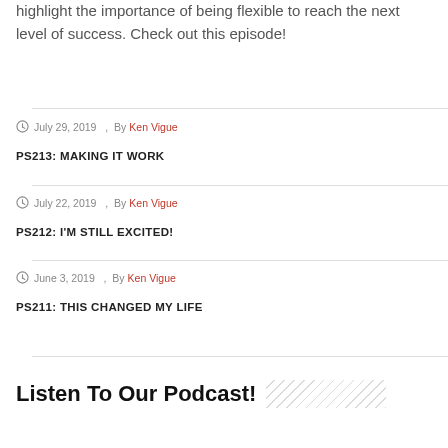highlight the importance of being flexible to reach the next level of success. Check out this episode!
July 29, 2019  ,  By Ken Vigue
PS213: MAKING IT WORK
July 22, 2019  ,  By Ken Vigue
PS212: I'M STILL EXCITED!
June 3, 2019  ,  By Ken Vigue
PS211: THIS CHANGED MY LIFE
Listen To Our Podcast!